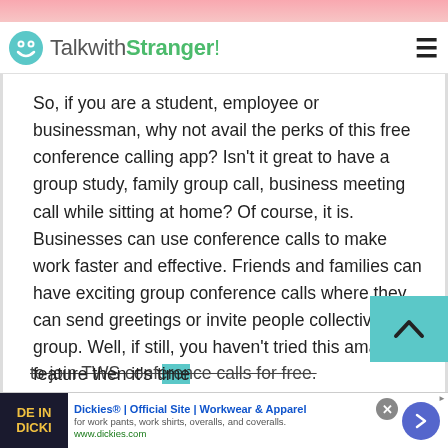TalkwithStranger!
So, if you are a student, employee or businessman, why not avail the perks of this free conference calling app? Isn't it great to have a group study, family group call, business meeting call while sitting at home? Of course, it is. Businesses can use conference calls to make work faster and effective. Friends and families can have exciting group conference calls where they can send greetings or invite people collectively in a group. Well, if still, you haven't tried this amazing feature then it's time to join TWS conference calls for free.
[Figure (screenshot): Advertisement banner for Dickies official site - Workwear and Apparel]